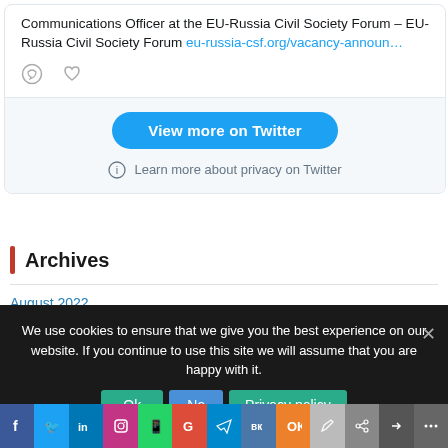Communications Officer at the EU-Russia Civil Society Forum – EU-Russia Civil Society Forum eu-russia-csf.org/vacancy-announ…
[Figure (screenshot): Twitter icon buttons: comment bubble and heart/like icon]
View more on Twitter
Learn more about privacy on Twitter
Archives
August 2022
We use cookies to ensure that we give you the best experience on our website. If you continue to use this site we will assume that you are happy with it.
Ok  No  Privacy policy
[Figure (screenshot): Social sharing icons bar at bottom: Facebook, Twitter, LinkedIn, Instagram, WhatsApp, Google, Telegram, VK, OK, pen/edit, share, link, more]